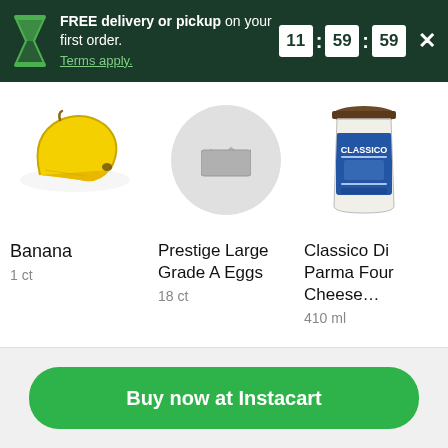FREE delivery or pickup on your first order. Terms apply. 11 : 59 : 59
[Figure (photo): Banana product image]
Banana
1 ct
[Figure (photo): Placeholder image for Prestige Large Grade A Eggs]
Prestige Large Grade A Eggs
18 ct
[Figure (photo): Classico Di Parma Four Cheese pasta sauce jar, 410 ml]
Classico Di Parma Four Cheese...
410 ml
Buy now at Instacart